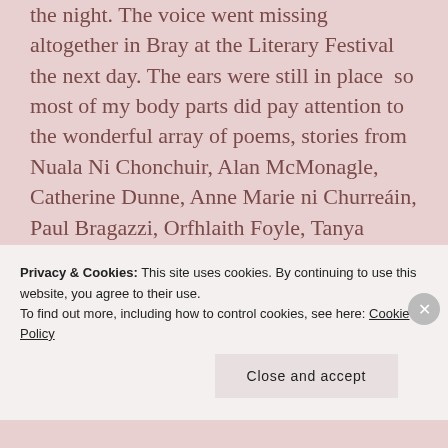the night. The voice went missing altogether in Bray at the Literary Festival the next day. The ears were still in place  so most of my body parts did pay attention to the wonderful array of poems, stories from Nuala Ni Chonchuir, Alan McMonagle, Catherine Dunne, Anne Marie ni Churreáin, Paul Bragazzi, Orfhlaith Foyle, Tanya Farrelly, Martin Malone, David Butler and John McKenna (phew) in lovely venues across the town. Well
Privacy & Cookies: This site uses cookies. By continuing to use this website, you agree to their use.
To find out more, including how to control cookies, see here: Cookie Policy
Close and accept